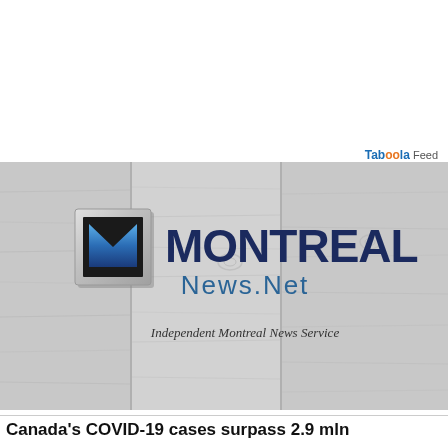Taboola Feed
[Figure (logo): Montreal News.Net logo on a grey wood-grain banner background. Features a stylized M icon in a chrome square frame with blue gradient, and the text MONTREAL News.Net with tagline 'Independent Montreal News Service']
Canada's COVID-19 cases surpass 2.9 mln